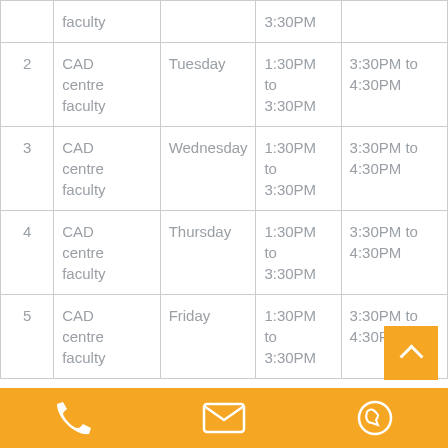| # | Name | Day | Time In | Time Out |
| --- | --- | --- | --- | --- |
|  | faculty |  | 3:30PM |  |
| 2 | CAD centre faculty | Tuesday | 1:30PM to 3:30PM | 3:30PM to 4:30PM |
| 3 | CAD centre faculty | Wednesday | 1:30PM to 3:30PM | 3:30PM to 4:30PM |
| 4 | CAD centre faculty | Thursday | 1:30PM to 3:30PM | 3:30PM to 4:30PM |
| 5 | CAD centre faculty | Friday | 1:30PM to 3:30PM | 3:30PM to 4:30PM |